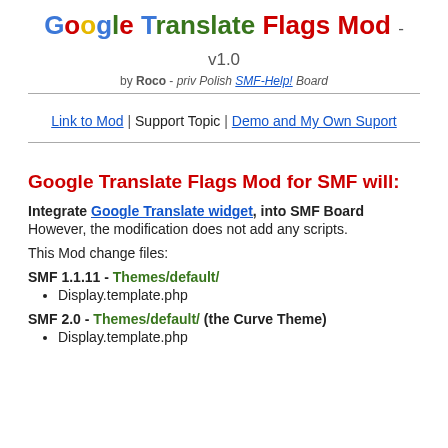Google Translate Flags Mod - v1.0
by Roco - priv Polish SMF-Help! Board
Link to Mod | Support Topic | Demo and My Own Suport
Google Translate Flags Mod for SMF will:
Integrate Google Translate widget, into SMF Board
However, the modification does not add any scripts.
This Mod change files:
SMF 1.1.11 - Themes/default/
Display.template.php
SMF 2.0 - Themes/default/ (the Curve Theme)
Display.template.php